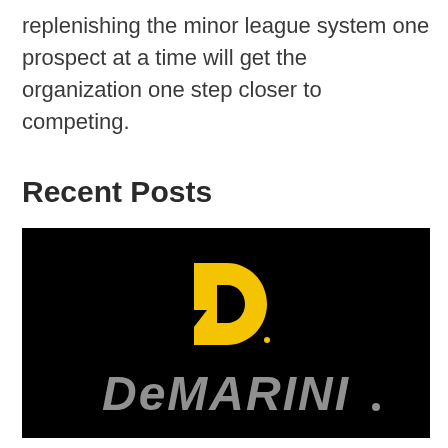replenishing the minor league system one prospect at a time will get the organization one step closer to competing.
Recent Posts
[Figure (logo): DeMarini logo on black background — yellow stylized D icon above gray italic DeMarINI text wordmark]